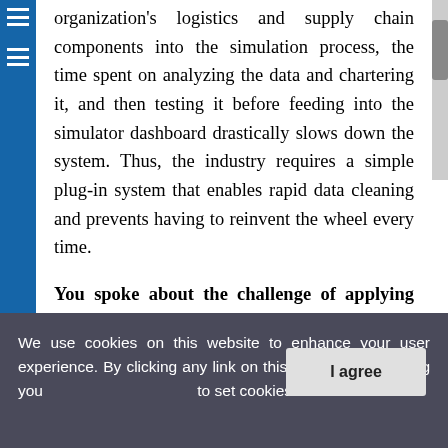organization's logistics and supply chain components into the simulation process, the time spent on analyzing the data and chartering it, and then testing it before feeding into the simulator dashboard drastically slows down the system. Thus, the industry requires a simple plug-in system that enables rapid data cleaning and prevents having to reinvent the wheel every time.
You spoke about the challenge of applying custom data into the simulation system. Could you elaborate on that?
The complexities associated with feeding custom data into the simulator are very high. Although all the
We use cookies on this website to enhance your user experience. By clicking any link on this page you are giving your consent to set cookies. More info